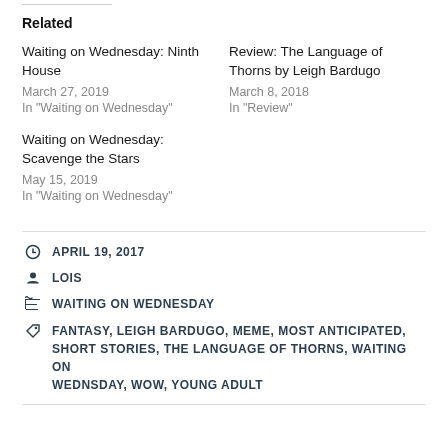Related
Waiting on Wednesday: Ninth House
March 27, 2019
In "Waiting on Wednesday"
Review: The Language of Thorns by Leigh Bardugo
March 8, 2018
In "Review"
Waiting on Wednesday: Scavenge the Stars
May 15, 2019
In "Waiting on Wednesday"
APRIL 19, 2017
LOIS
WAITING ON WEDNESDAY
FANTASY, LEIGH BARDUGO, MEME, MOST ANTICIPATED, SHORT STORIES, THE LANGUAGE OF THORNS, WAITING ON WEDNSDAY, WOW, YOUNG ADULT